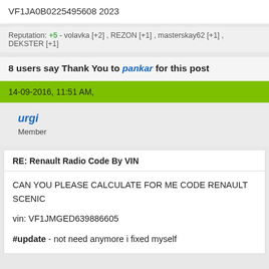VF1JA0B0225495608 2023
Reputation: +5 - volavka [+2] , REZON [+1] , masterskay62 [+1] , DEKSTER [+1]
8 users say Thank You to pankar for this post
14-09-2016, 11:51 AM,
urgi
Member
RE: Renault Radio Code By VIN
CAN YOU PLEASE CALCULATE FOR ME CODE RENAULT SCENIC

vin: VF1JMGED639886605

#update - not need anymore i fixed myself